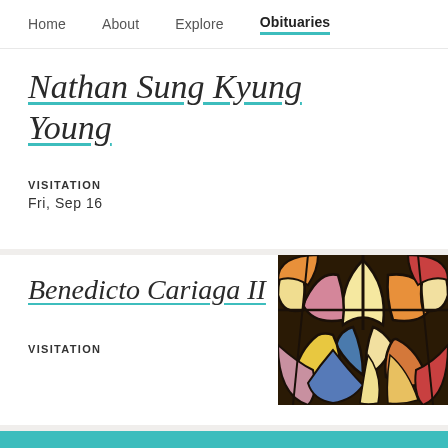Home   About   Explore   Obituaries
Nathan Sung Kyung Young
VISITATION
Fri, Sep 16
Benedicto Cariaga II
[Figure (photo): Stained glass window with colorful leaf/petal shapes in yellow, orange, red, pink, and blue tones with dark leading]
VISITATION
PLAN AHEAD
A death has occurred or is near